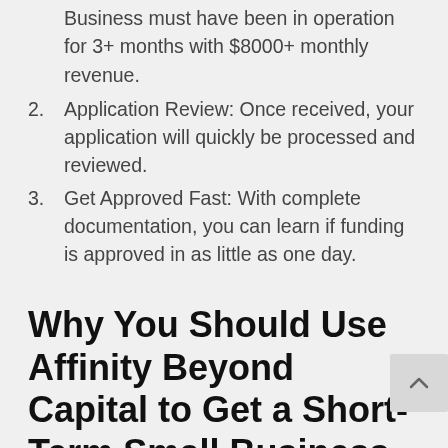Business must have been in operation for 3+ months with $8000+ monthly revenue.
2. Application Review: Once received, your application will quickly be processed and reviewed.
3. Get Approved Fast: With complete documentation, you can learn if funding is approved in as little as one day.
Why You Should Use Affinity Beyond Capital to Get a Short-Term Small Business Loan: